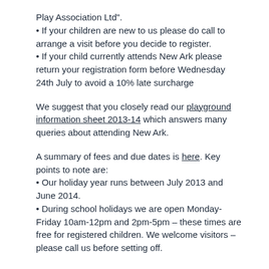Play Association Ltd".
• If your children are new to us please do call to arrange a visit before you decide to register.
• If your child currently attends New Ark please return your registration form before Wednesday 24th July to avoid a 10% late surcharge
We suggest that you closely read our playground information sheet 2013-14 which answers many queries about attending New Ark.
A summary of fees and due dates is here. Key points to note are:
• Our holiday year runs between July 2013 and June 2014.
• During school holidays we are open Monday-Friday 10am-12pm and 2pm-5pm – these times are free for registered children. We welcome visitors – please call us before setting off.